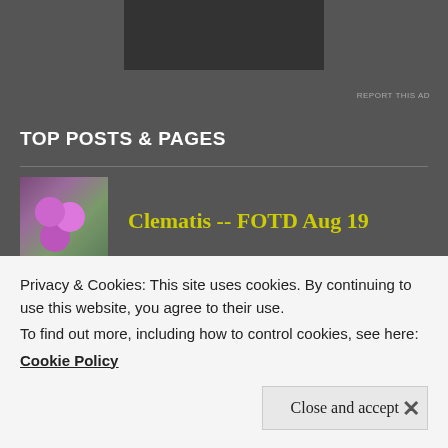[Figure (other): Advertisement banner (dark rectangle) at top of page]
REPORT THIS AD
TOP POSTS & PAGES
[Figure (photo): Thumbnail of purple clematis flowers]
Clematis -- FOTD Aug 19
[Figure (photo): Thumbnail of black-and-white building underground scene]
Going Underground -- CBWC
[Figure (photo): Thumbnail of wooden dock/pier path]
Which Way Photo Challenge -- Aug 19
Privacy & Cookies: This site uses cookies. By continuing to use this website, you agree to their use.
To find out more, including how to control cookies, see here:
Cookie Policy
Close and accept